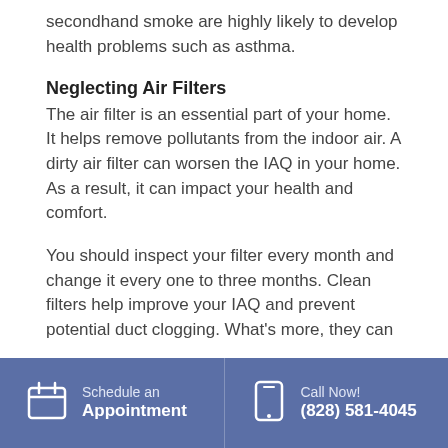secondhand smoke are highly likely to develop health problems such as asthma.
Neglecting Air Filters
The air filter is an essential part of your home. It helps remove pollutants from the indoor air. A dirty air filter can worsen the IAQ in your home. As a result, it can impact your health and comfort.
You should inspect your filter every month and change it every one to three months. Clean filters help improve your IAQ and prevent potential duct clogging. What’s more, they can
Schedule an Appointment | Call Now! (828) 581-4045